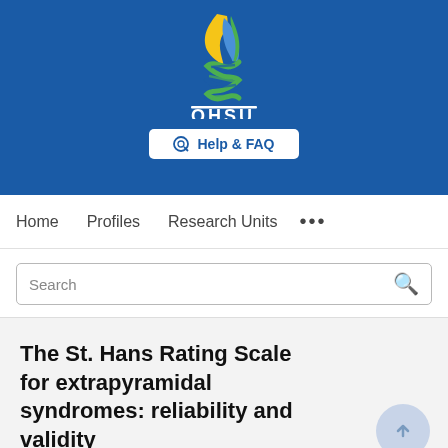[Figure (logo): OHSU (Oregon Health & Science University) logo: stylized DNA double helix flame in blue, green, and gold/yellow, with OHSU text in white and white underline, on a blue background]
[Figure (screenshot): Help & FAQ button in white on blue background]
Home   Profiles   Research Units   ...
Search
The St. Hans Rating Scale for extrapyramidal syndromes: reliability and validity